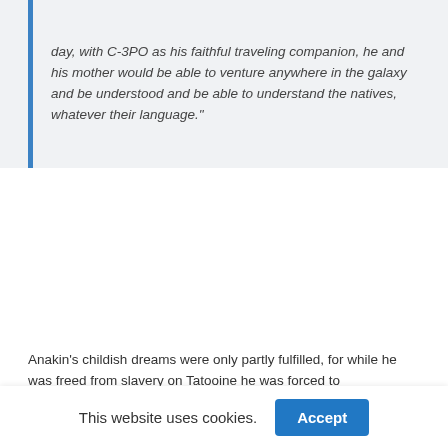day, with C-3PO as his faithful traveling companion, he and his mother would be able to venture anywhere in the galaxy and be understood and be able to understand the natives, whatever their language."
Anakin's childish dreams were only partly fulfilled, for while he was freed from slavery on Tatooine he was forced to
This website uses cookies.